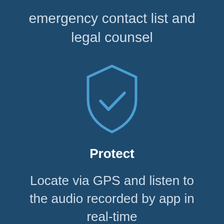emergency contact list and legal counsel
[Figure (illustration): Shield icon with a checkmark, outlined in bright blue on dark blue background]
Protect
Locate via GPS and listen to the audio recorded by app in real-time